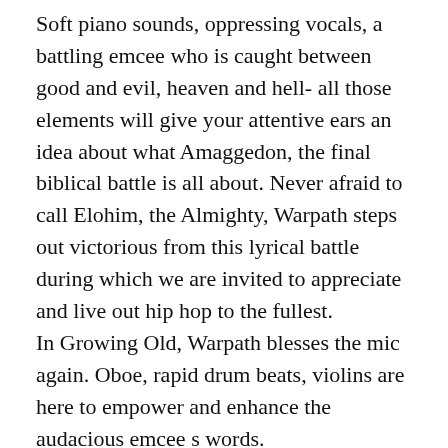Soft piano sounds, oppressing vocals, a battling emcee who is caught between good and evil, heaven and hell- all those elements will give your attentive ears an idea about what Amaggedon, the final biblical battle is all about. Never afraid to call Elohim, the Almighty, Warpath steps out victorious from this lyrical battle during which we are invited to appreciate and live out hip hop to the fullest.
In Growing Old, Warpath blesses the mic again. Oboe, rapid drum beats, violins are here to empower and enhance the audacious emcee s words.
Warpath is excellent in each song he does. I strongly recommend this highly skilled emcee to all of you.
Check out more of his music here